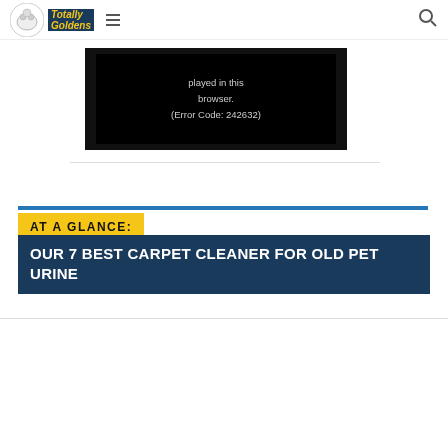Totally Goldens
[Figure (screenshot): Video player error message on black background reading 'played in this browser. (Error Code: 242632)']
AT A GLANCE:
OUR 7 BEST CARPET CLEANER FOR OLD PET URINE